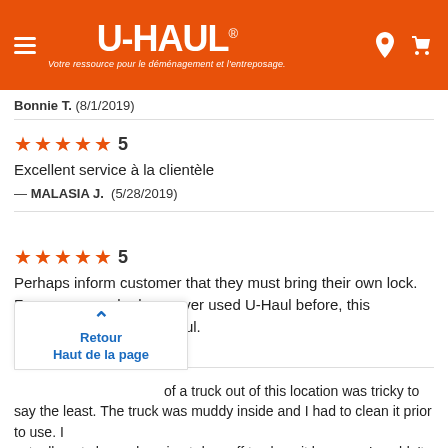[Figure (screenshot): U-Haul website header with orange background, hamburger menu icon on left, U-Haul logo with tagline 'Votre ressource pour le déménagement et l'entreposage.' in center, location pin and cart icons on right]
Bonnie T. (8/1/2019)
★★★★★ 5
Excellent service à la clientèle
— MALASIA J. (5/28/2019)
★★★★★ 5
Perhaps inform customer that they must bring their own lock. For someone who has never used U-Haul before, this information would be useful.
— Siri C. (5/27/2019)
of a truck out of this location was tricky to say the least. The truck was muddy inside and I had to clean it prior to use. I actually got charged again at drop off to clean it because I couldn't
Retour
Haut de la page